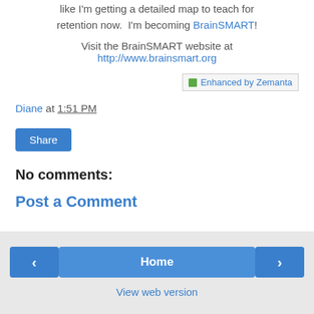like I'm getting a detailed map to teach for retention now.  I'm becoming BrainSMART!
Visit the BrainSMART website at http://www.brainsmart.org
[Figure (other): Enhanced by Zemanta badge/button]
Diane at 1:51 PM
Share
No comments:
Post a Comment
< Home > View web version